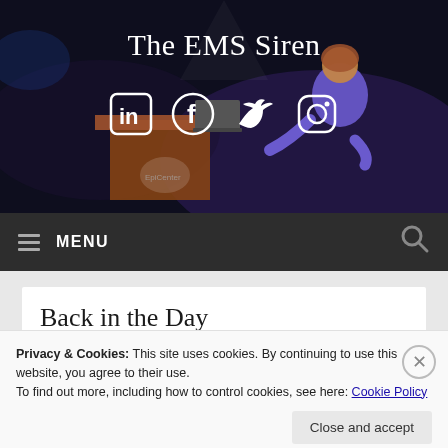[Figure (photo): Hero banner with dark background showing a woman in a purple dress presenting at a podium with a laptop, stage lighting in blue/purple tones. Text 'The EMS Siren' overlaid at top center with four social media icons (LinkedIn, Facebook, Twitter, Instagram) below.]
The EMS Siren
≡ MENU
Back in the Day
Privacy & Cookies: This site uses cookies. By continuing to use this website, you agree to their use.
To find out more, including how to control cookies, see here: Cookie Policy